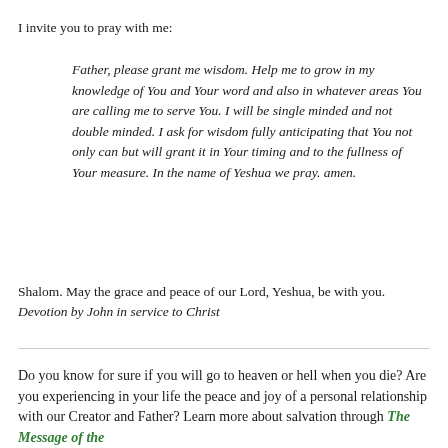I invite you to pray with me:
Father, please grant me wisdom. Help me to grow in my knowledge of You and Your word and also in whatever areas You are calling me to serve You. I will be single minded and not double minded. I ask for wisdom fully anticipating that You not only can but will grant it in Your timing and to the fullness of Your measure. In the name of Yeshua we pray. amen.
Shalom. May the grace and peace of our Lord, Yeshua, be with you. Devotion by John in service to Christ
Do you know for sure if you will go to heaven or hell when you die? Are you experiencing in your life the peace and joy of a personal relationship with our Creator and Father? Learn more about salvation through The Message of the